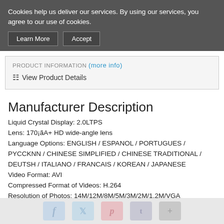Cookies help us deliver our services. By using our services, you agree to our use of cookies.
Learn More | Accept
PRODUCT INFORMATION (more info)
View Product Details
Manufacturer Description
Liquid Crystal Display: 2.0LTPS
Lens: 170¡ãA+ HD wide-angle lens
Language Options: ENGLISH / ESPANOL / PORTUGUES / PYCCKNN / CHINESE SIMPLIFIED / CHINESE TRADITIONAL / DEUTSH / ITALIANO / FRANCAIS / KOREAN / JAPANESE
Video Format: AVI
Compressed Format of Videos: H.264
Resolution of Photos: 14M/12M/8M/5M/3M/2M/1.2M/VGA
Storage: Micro SD
Shooting Mode: Single Shot/Self-timer/(2s/5s/10s)/Continuous Shooting
WiFi Support Phone System: IOS6.1 and above, Android 4.0 and